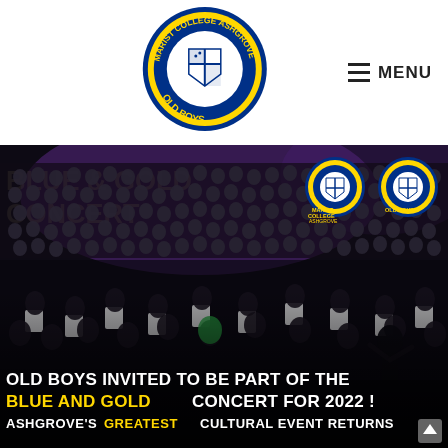[Figure (logo): Marist College Ashgrove Old Boys circular crest logo in blue and gold]
MENU
[Figure (photo): Orchestra and choir performing on stage at a concert, multiple musicians with instruments, large choir in background, dark stage lighting]
OLD BOYS INVITED TO BE PART OF THE BLUE AND GOLD CONCERT FOR 2022 !
ASHGROVE'S GREATEST CULTURAL EVENT RETURNS